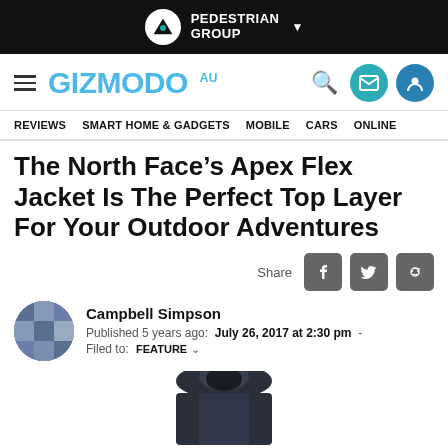PEDESTRIAN GROUP
GIZMODO AU | REVIEWS | SMART HOME & GADGETS | MOBILE | CARS | ONLINE
The North Face’s Apex Flex Jacket Is The Perfect Top Layer For Your Outdoor Adventures
Share
Campbell Simpson
Published 5 years ago:  July 26, 2017 at 2:30 pm  -
Filed to: FEATURE
[Figure (photo): The North Face jacket hood visible at the bottom of the page]